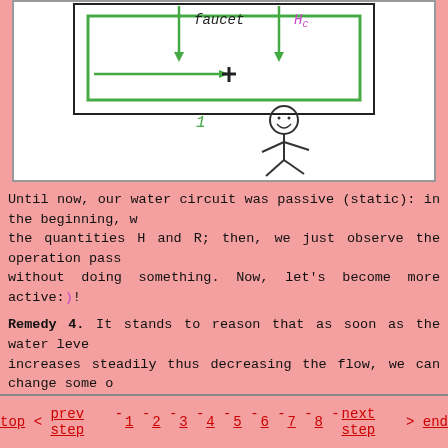[Figure (illustration): Hand-drawn illustration of a water circuit with a faucet labeled 'faucet', a height label 'Hc', green arrows showing water flow, a stick figure person, and the number '1' near the bottom.]
Until now, our water circuit was passive (static): in the beginning, we fix the quantities H and R; then, we just observe the operation passing without doing something. Now, let's become more active:)!
Remedy 4. It stands to reason that as soon as the water level increases steadily thus decreasing the flow, we can change some other quantities in the opposite direction, in order to keep the constant flow.
Let's begin with the impediment R replacing the valve with a faucet; then, we have to open steadily the faucet when the water level increases. In this arrangement, the faucet will act as a kind of dynamic following valve.
top < prev step - 1 - 2 - 3 - 4 - 5 - 6 - 7 - 8 - next step > end